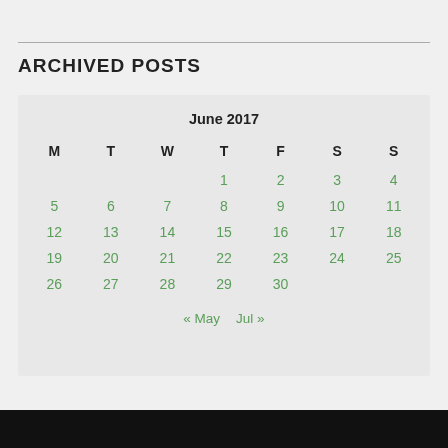ARCHIVED POSTS
| M | T | W | T | F | S | S |
| --- | --- | --- | --- | --- | --- | --- |
|  |  |  | 1 | 2 | 3 | 4 |
| 5 | 6 | 7 | 8 | 9 | 10 | 11 |
| 12 | 13 | 14 | 15 | 16 | 17 | 18 |
| 19 | 20 | 21 | 22 | 23 | 24 | 25 |
| 26 | 27 | 28 | 29 | 30 |  |  |
« May  Jul »